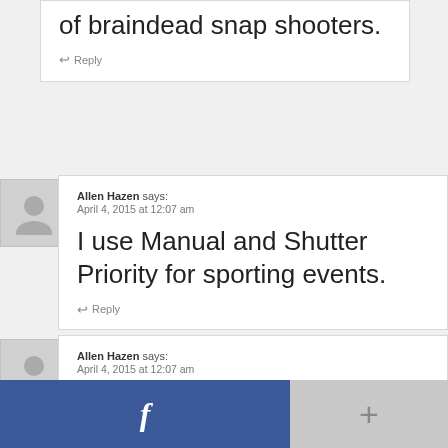of braindead snap shooters.
↩ Reply
Allen Hazen says:
April 4, 2015 at 12:07 am
I use Manual and Shutter Priority for sporting events.
↩ Reply
Allen Hazen says:
April 4, 2015 at 12:07 am
I use Manual and sh... (partial)
[Figure (screenshot): Social sharing bar at bottom with Facebook button (blue, showing 'f') and a plus button (grey)]